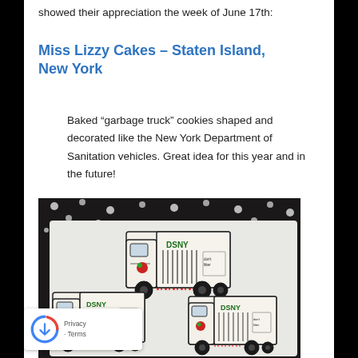showed their appreciation the week of June 17th:
Miss Lizzy Cakes – Staten Island, New York
Baked “garbage truck” cookies shaped and decorated like the New York Department of Sanitation vehicles. Great idea for this year and in the future!
[Figure (photo): Photo of decorated sugar cookies shaped and decorated to look like DSNY (Department of Sanitation New York) garbage trucks, placed on a white tray with a black and white polka dot background. Three cookies are visible showing white truck shapes with DSNY text, black wheels, and colorful details.]